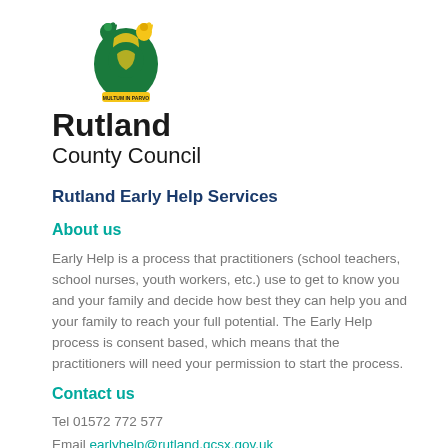[Figure (logo): Rutland County Council coat of arms logo with green and gold shield, two green creatures on top, and a banner at the bottom reading MULTUM IN PARVO. Below the crest: 'Rutland' in bold black and 'County Council' in regular black text.]
Rutland Early Help Services
About us
Early Help is a process that practitioners (school teachers, school nurses, youth workers, etc.) use to get to know you and your family and decide how best they can help you and your family to reach your full potential. The Early Help process is consent based, which means that the practitioners will need your permission to start the process.
Contact us
Tel 01572 772 577
Email earlyhelp@rutland.gcsx.gov.uk